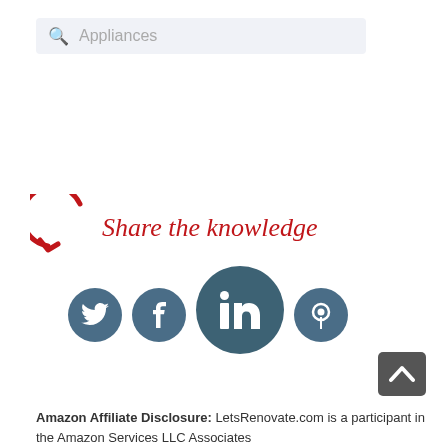[Figure (screenshot): Search bar with magnifying glass icon and placeholder text 'Appliances' on a light grey background]
[Figure (infographic): Red italic cursive text 'Share the knowledge' with a red circular arrow icon to the left, followed by social media icons: Twitter, Facebook, LinkedIn (large), Pinterest]
Amazon Affiliate Disclosure: LetsRenovate.com is a participant in the Amazon Services LLC Associates